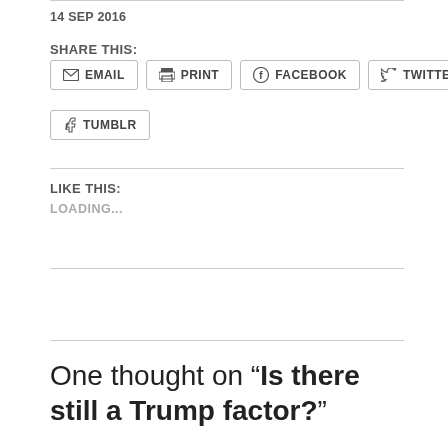14 SEP 2016
SHARE THIS:
EMAIL  PRINT  FACEBOOK  TWITTER  TUMBLR
LIKE THIS:
LOADING...
One thought on “Is there still a Trump factor?”